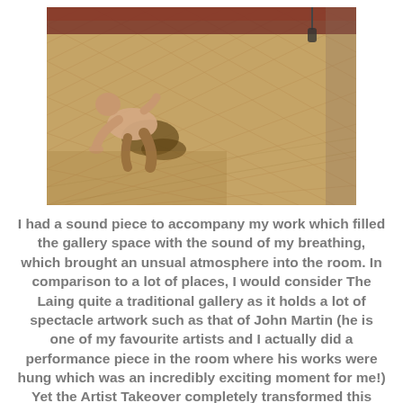[Figure (photo): A shirtless person crouching close to a wooden parquet floor in a large gallery space. The floor has a herringbone pattern. There is a dark circular shadow or marking on the floor near the person.]
I had a sound piece to accompany my work which filled the gallery space with the sound of my breathing, which brought an unsual atmosphere into the room. In comparison to a lot of places, I would consider The Laing quite a traditional gallery as it holds a lot of spectacle artwork such as that of John Martin (he is one of my favourite artists and I actually did a performance piece in the room where his works were hung which was an incredibly exciting moment for me!) Yet the Artist Takeover completely transformed this stereotype of it for me by allowing The Laing to be a more willing